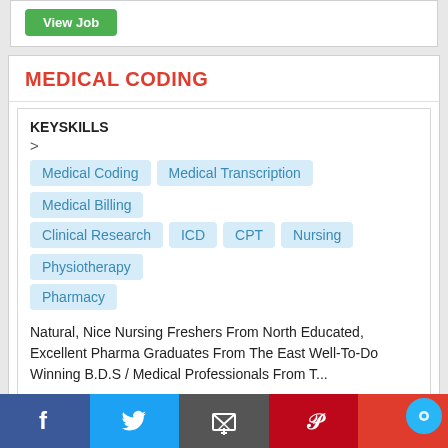[Figure (screenshot): Green 'View Job' button at top of page]
MEDICAL CODING
KEYSKILLS
Medical Coding
Medical Transcription
Medical Billing
Clinical Research
ICD
CPT
Nursing
Physiotherapy
Pharmacy
Natural, Nice Nursing Freshers From North Educated, Excellent Pharma Graduates From The East Well-To-Do Winning B.D.S / Medical Professionals From T...
JOB ROLE : Fresher | LOCATION : Tirunelveli
[Figure (screenshot): Green 'View Job' button at bottom of card]
[Figure (infographic): Social media share bar: Facebook, Twitter, Email, Pinterest, Chat]